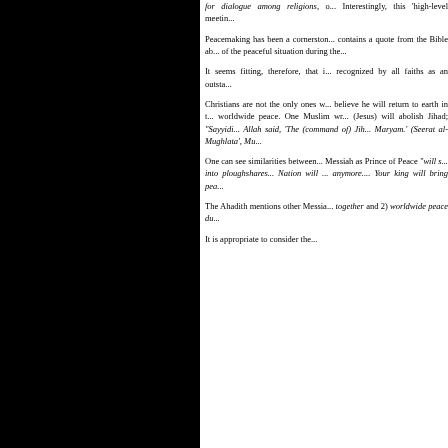[Figure (photo): Large black rectangular panel occupying the left portion of the page]
for dialogue among religions, o... Interestingly, this 'high-level meetin...
Peacemaking has been a cornerston... contains a quote from the Bible ab... of the peaceful situation during the...
It seems fitting, therefore, that i... recognized by all faiths as an outsta...
Christians are not the only ones w... believe he will return to earth in t... worldwide peace. One Muslim wr... (Jesus) will abolish Jihad; "Sayyidi... Allah said, 'The (command of) Jih... Maryam.' (Seerat al-Mughlata', Mu...
One can see similarities between... Messiah as Prince of Peace "will s... into ploughshares... Nation will ... anymore.... Your king will bring pea...
The Ahadith mentions other Messia... together and 2) worldwide peace du...
It is appropriate to consider the...